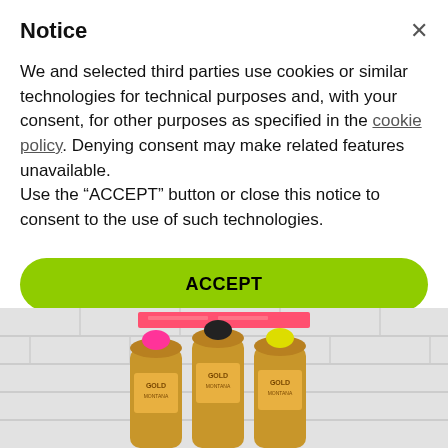Notice
We and selected third parties use cookies or similar technologies for technical purposes and, with your consent, for other purposes as specified in the cookie policy. Denying consent may make related features unavailable.
Use the “ACCEPT” button or close this notice to consent to the use of such technologies.
ACCEPT
Learn more and customize
[Figure (photo): Photo of three gold spray paint cans (pink, black, and yellow caps) against a white brick wall background, with a pink/red banner label at the top]